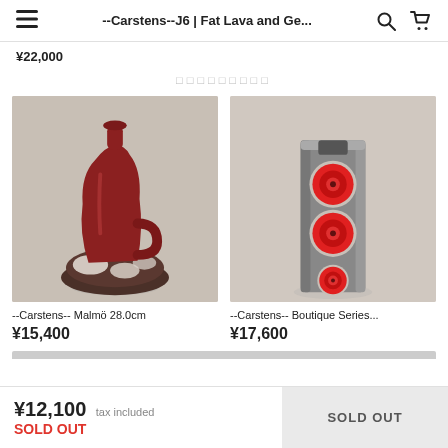--Carstens--J6 | Fat Lava and Ge...
¥22,000
□□□□□□□□□
[Figure (photo): Red-brown ceramic vase with handle, lava glaze base, Malmö style, on gray background]
--Carstens-- Malmö 28.0cm
¥15,400
[Figure (photo): Gray rectangular ceramic vase with three red circular targets/discs in vertical arrangement, Boutique Series]
--Carstens-- Boutique Series...
¥17,600
¥12,100 tax included
SOLD OUT
SOLD OUT